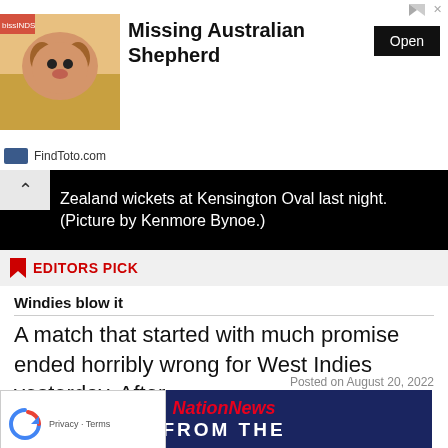[Figure (advertisement): Ad banner for FindToto.com with image of Australian Shepherd dog, title 'Missing Australian Shepherd', Open button, and FindToto.com footer logo]
Zealand wickets at Kensington Oval last night. (Picture by Kenmore Bynoe.)
EDITORS PICK
Windies blow it
A match that started with much promise ended horribly wrong for West Indies yesterday. After...
Posted on August 20, 2022
[Figure (screenshot): NationNews 'FROM THE' video thumbnail with dark blue background]